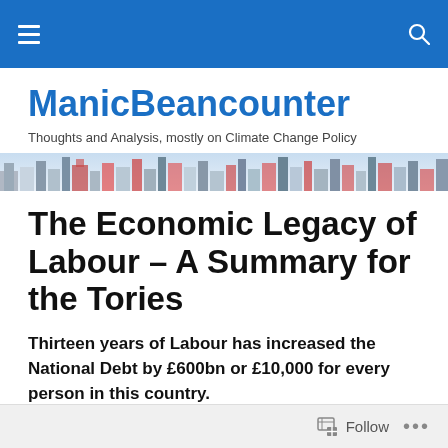ManicBeancounter – navigation bar
ManicBeancounter
Thoughts and Analysis, mostly on Climate Change Policy
[Figure (photo): City skyline banner photo with colourful high-rise buildings]
The Economic Legacy of Labour – A Summary for the Tories
Thirteen years of Labour has increased the National Debt by £600bn or £10,000 for every person in this country.
Follow